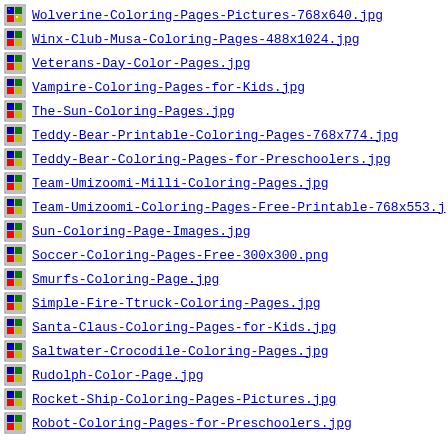Wolverine-Coloring-Pages-Pictures-768x640.jpg
Winx-Club-Musa-Coloring-Pages-488x1024.jpg
Veterans-Day-Color-Pages.jpg
Vampire-Coloring-Pages-for-Kids.jpg
The-Sun-Coloring-Pages.jpg
Teddy-Bear-Printable-Coloring-Pages-768x774.jpg
Teddy-Bear-Coloring-Pages-for-Preschoolers.jpg
Team-Umizoomi-Milli-Coloring-Pages.jpg
Team-Umizoomi-Coloring-Pages-Free-Printable-768x553.j
Sun-Coloring-Page-Images.jpg
Soccer-Coloring-Pages-Free-300x300.png
Smurfs-Coloring-Page.jpg
Simple-Fire-Ttruck-Coloring-Pages.jpg
Santa-Claus-Coloring-Pages-for-Kids.jpg
Saltwater-Crocodile-Coloring-Pages.jpg
Rudolph-Color-Page.jpg
Rocket-Ship-Coloring-Pages-Pictures.jpg
Robot-Coloring-Pages-for-Preschoolers.jpg